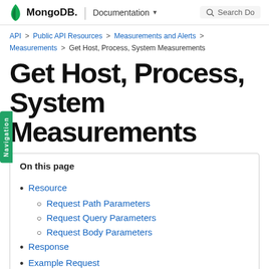MongoDB | Documentation   Search Do...
API > Public API Resources > Measurements and Alerts > Measurements > Get Host, Process, System Measurements
Get Host, Process, System Measurements
On this page
Resource
Request Path Parameters
Request Query Parameters
Request Body Parameters
Response
Example Request
Example Response